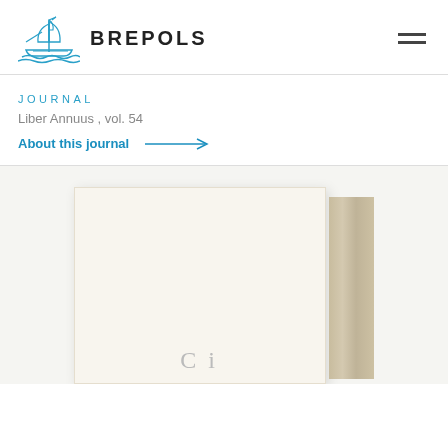[Figure (logo): Brepols publisher logo: a stylized sailing ship in blue outline, with the text BREPOLS in bold uppercase to the right]
JOURNAL
Liber Annuus , vol. 54
About this journal →
[Figure (photo): Partial view of a book cover with a white/cream front and tan spine, showing the beginning of a word in gray serif text at the bottom]